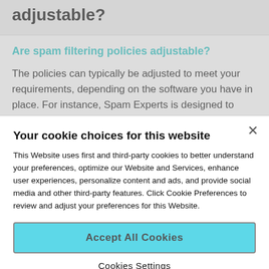adjustable?
Are spam filtering policies adjustable?
The policies can typically be adjusted to meet your requirements, depending on the software you have in place. For instance, Spam Experts is designed to
Your cookie choices for this website
This Website uses first and third-party cookies to better understand your preferences, optimize our Website and Services, enhance user experiences, personalize content and ads, and provide social media and other third-party features. Click Cookie Preferences to review and adjust your preferences for this Website.
Accept All Cookies
Cookies Settings